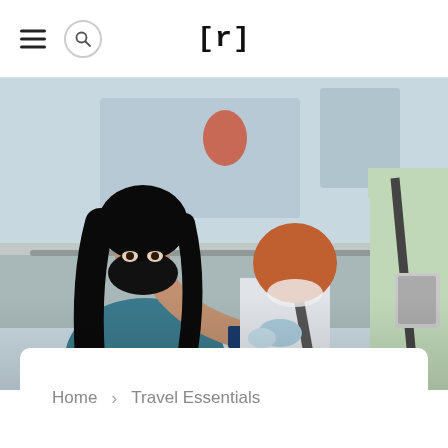[r]
[Figure (photo): A woman wearing a black face mask and blue dress handing a passport/document to a gloved official at what appears to be an airport security or border control checkpoint. A person in a light green shirt is visible on the right.]
Home > Travel Essentials